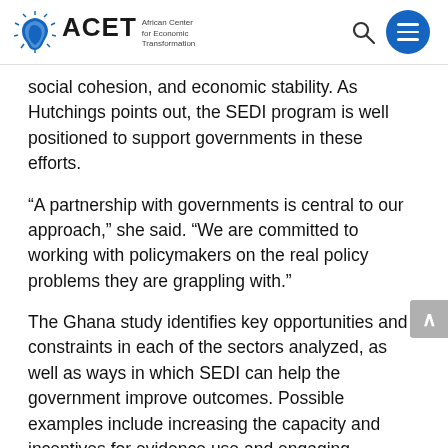ACET African Center for Economic Transformation
social cohesion, and economic stability. As Hutchings points out, the SEDI program is well positioned to support governments in these efforts.
“A partnership with governments is central to our approach,” she said. “We are committed to working with policymakers on the real policy problems they are grappling with.”
The Ghana study identifies key opportunities and constraints in each of the sectors analyzed, as well as ways in which SEDI can help the government improve outcomes. Possible examples include increasing the capacity and incentives for evidence use and engaging stakeholders directly to help translate and apply available evidence.